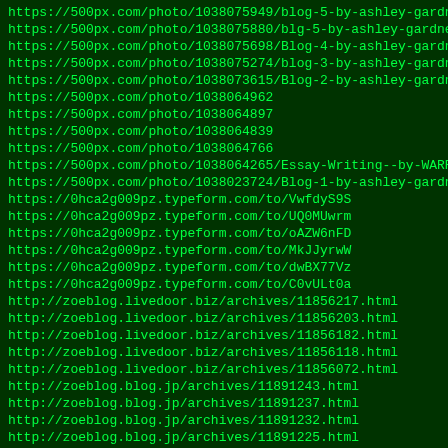https://500px.com/photo/1038075949/blog-5-by-ashley-gardner
https://500px.com/photo/1038075880/blg-5-by-ashley-gardner
https://500px.com/photo/1038075698/Blog-4-by-ashley-gardner
https://500px.com/photo/1038075274/blog-3-by-ashley-gardner
https://500px.com/photo/1038073615/Blog-2-by-ashley-gardner
https://500px.com/photo/1038064962
https://500px.com/photo/1038064897
https://500px.com/photo/1038064839
https://500px.com/photo/1038064766
https://500px.com/photo/1038064265/Essay-Writing--by-WARREN
https://500px.com/photo/1038023724/Blog-1-by-ashley-gardner
https://0hca2g009pz.typeform.com/to/VwfdyS9S
https://0hca2g009pz.typeform.com/to/UQ0MUwrm
https://0hca2g009pz.typeform.com/to/oAZW6nFD
https://0hca2g009pz.typeform.com/to/MkJJyrwW
https://0hca2g009pz.typeform.com/to/dwBX77Vz
https://0hca2g009pz.typeform.com/to/C0vULt0a
http://zoeblog.livedoor.biz/archives/11856217.html
http://zoeblog.livedoor.biz/archives/11856203.html
http://zoeblog.livedoor.biz/archives/11856182.html
http://zoeblog.livedoor.biz/archives/11856118.html
http://zoeblog.livedoor.biz/archives/11856072.html
http://zoeblog.blog.jp/archives/11891243.html
http://zoeblog.blog.jp/archives/11891237.html
http://zoeblog.blog.jp/archives/11891232.html
http://zoeblog.blog.jp/archives/11891225.html
http://zoeblog.blog.jp/archives/11891220.html
http://zoeblog.blog.jp/archives/11891212.html
http://yasunitransparente.ambiente.gob.ec/web/adamclarke/ho